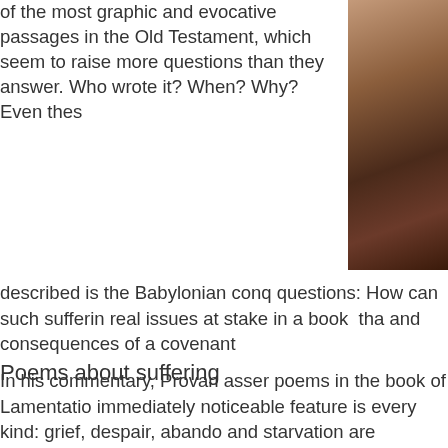of the most graphic and evocative passages in the Old Testament, which seem to raise more questions than they answer. Who wrote it? When? Why? Even thes
[Figure (photo): Close-up photo of hands, dark toned image]
described is the Babylonian conq questions: How can such sufferin real issues at stake in a book  tha and consequences of a covenant
Poems about suffering
In his commentary, Provan asser poems in the book of Lamentatio immediately noticeable feature is every kind: grief, despair, abando and starvation are horrifyingly viv page. Nevertheless,